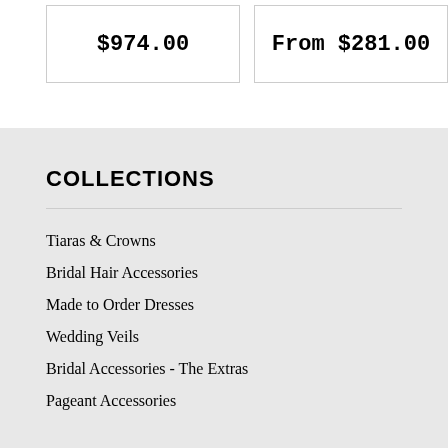$974.00
From $281.00
COLLECTIONS
Tiaras & Crowns
Bridal Hair Accessories
Made to Order Dresses
Wedding Veils
Bridal Accessories - The Extras
Pageant Accessories